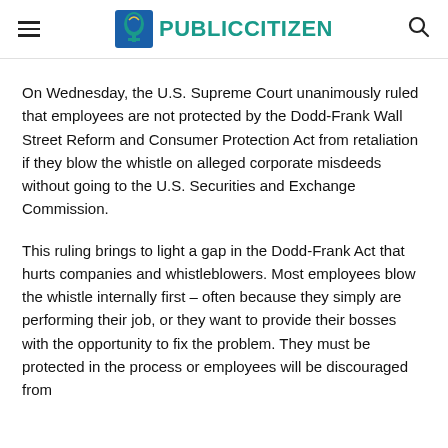PUBLIC CITIZEN
On Wednesday, the U.S. Supreme Court unanimously ruled that employees are not protected by the Dodd-Frank Wall Street Reform and Consumer Protection Act from retaliation if they blow the whistle on alleged corporate misdeeds without going to the U.S. Securities and Exchange Commission.
This ruling brings to light a gap in the Dodd-Frank Act that hurts companies and whistleblowers. Most employees blow the whistle internally first – often because they simply are performing their job, or they want to provide their bosses with the opportunity to fix the problem. They must be protected in the process or employees will be discouraged from